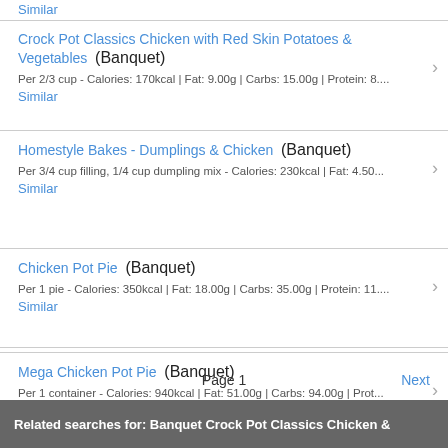Similar
Crock Pot Classics Chicken with Red Skin Potatoes & Vegetables (Banquet)
Per 2/3 cup - Calories: 170kcal | Fat: 9.00g | Carbs: 15.00g | Protein: 8....
Similar
Homestyle Bakes - Dumplings & Chicken (Banquet)
Per 3/4 cup filling, 1/4 cup dumpling mix - Calories: 230kcal | Fat: 4.50...
Similar
Chicken Pot Pie (Banquet)
Per 1 pie - Calories: 350kcal | Fat: 18.00g | Carbs: 35.00g | Protein: 11....
Similar
Mega Chicken Pot Pie (Banquet)
Per 1 container - Calories: 940kcal | Fat: 51.00g | Carbs: 94.00g | Prot...
Similar
Page 1
Next
Related searches for: Banquet Crock Pot Classics Chicken &